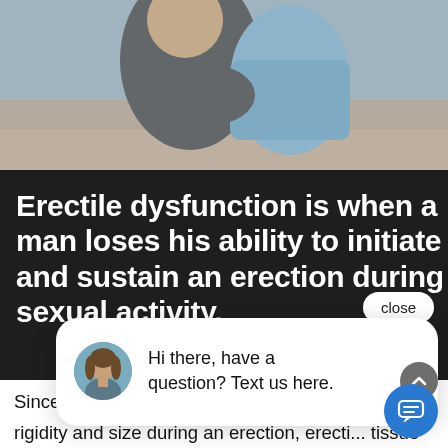[Figure (photo): Cropped photo of two people embracing, one wearing a grey sweater and one wearing a light blue shirt, outdoors on a sandy/beach background]
Erectile dysfunction is when a man loses his ability to initiate and sustain an erection during sexual activity.
Since blood must remain in the penis to maintain rigidity and size during an erection, erecti... tissue surrounded by fibrous elastic sheaths (tunicae) that clamp and restrict blood from
[Figure (screenshot): Chat widget popup with avatar of a woman and text: Hi there, have a question? Text us here. With a close button and a blue chat icon button.]